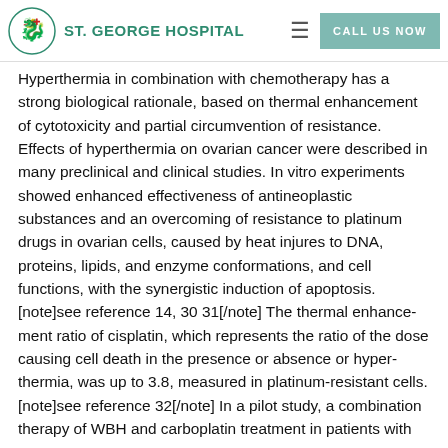St. George Hospital
Hyperthermia in combination with chemotherapy has a strong biological rationale, based on thermal enhancement of cytotoxicity and partial circumvention of resistance. Effects of hyperthermia on ovarian cancer were described in many preclinical and clinical studies. In vitro experiments showed enhanced effectiveness of antineoplastic substances and an overcoming of resistance to platinum drugs in ovarian cells, caused by heat injures to DNA, proteins, lipids, and enzyme conformations, and cell functions, with the synergistic induction of apoptosis. [note]see reference 14, 30 31[/note] The thermal enhancement ratio of cisplatin, which represents the ratio of the dose causing cell death in the presence or absence or hyperthermia, was up to 3.8, measured in platinum-resistant cells. [note]see reference 32[/note] In a pilot study, a combination therapy of WBH and carboplatin treatment in patients with platinum-resistant ovarian cancer had a remarkable